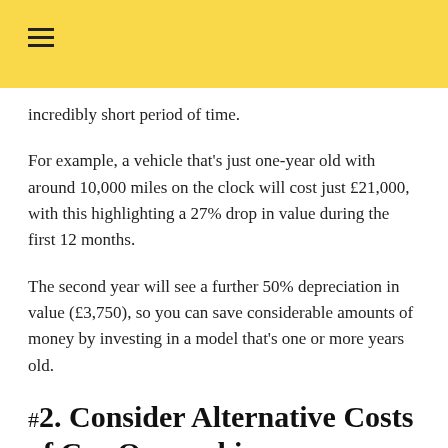≡
incredibly short period of time.
For example, a vehicle that's just one-year old with around 10,000 miles on the clock will cost just £21,000, with this highlighting a 27% drop in value during the first 12 months.
The second year will see a further 50% depreciation in value (£3,750), so you can save considerable amounts of money by investing in a model that's one or more years old.
#2. Consider Alternative Costs of Car Ownership
Aside from the cost of buying a car, there are other, smaller financial considerations that